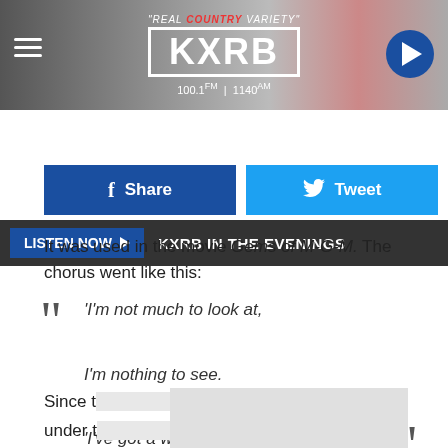[Figure (screenshot): KXRB radio station header with logo, tagline 'REAL COUNTRY VARIETY', frequency 100.1 FM | 1140 AM, menu icon, and play button]
LISTEN NOW  KXRB IN THE EVENINGS
[Figure (other): Facebook Share and Twitter Tweet social sharing buttons]
It was used in the movie Gems of M-G-M. The chorus went like this:
“I'm not much to look at,

I'm nothing to see.

'I've got a woman crazy 'bout me,

she’s funny that way'”
Since t men under t ry